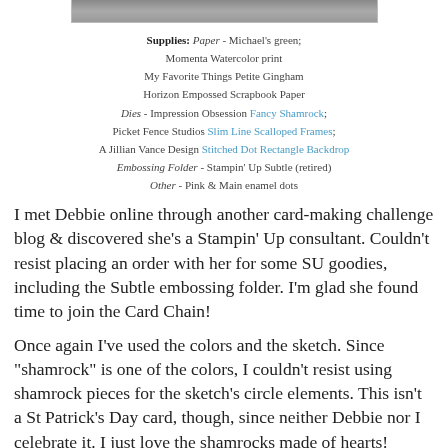[Figure (photo): Top portion of a craft card photo, cropped at the top of the page]
Supplies: Paper - Michael's green; Momenta Watercolor print My Favorite Things Petite Gingham Horizon Empossed Scrapbook Paper Dies - Impression Obsession Fancy Shamrock; Picket Fence Studios Slim Line Scalloped Frames; A Jillian Vance Design Stitched Dot Rectangle Backdrop Embossing Folder - Stampin' Up Subtle (retired) Other - Pink & Main enamel dots
I met Debbie online through another card-making challenge blog & discovered she's a Stampin' Up consultant. Couldn't resist placing an order with her for some SU goodies, including the Subtle embossing folder. I'm glad she found time to join the Card Chain!
Once again I've used the colors and the sketch. Since "shamrock" is one of the colors, I couldn't resist using shamrock pieces for the sketch's circle elements. This isn't a St Patrick's Day card, though, since neither Debbie nor I celebrate it. I just love the shamrocks made of hearts!